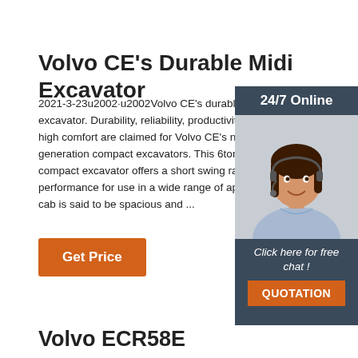Volvo CE's Durable Midi Excavator
2021-3-23u2002·u2002Volvo CE's durable midi excavator. Durability, reliability, productivity, ve high comfort are claimed for Volvo CE's new E generation compact excavators. This 6tonne c compact excavator offers a short swing radius performance for use in a wide range of applica cab is said to be spacious and ...
[Figure (photo): Sidebar with 24/7 Online badge, photo of a woman with headset smiling, and a 'Click here for free chat!' button with QUOTATION in orange]
Get Price
Volvo ECR58E